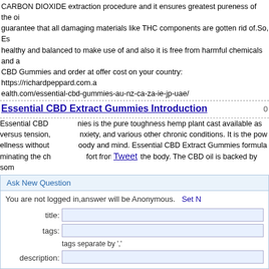CARBON DIOXIDE extraction procedure and it ensures greatest pureness of the oil guarantee that all damaging materials like THC components are gotten rid of.So, Es healthy and balanced to make use of and also it is free from harmful chemicals and a CBD Gummies and order at offer cost on your country: https://richardpeppard.com.a ealth.com/essential-cbd-gummies-au-nz-ca-za-ie-jp-uae/
Essential CBD Extract Gummies Introduction
Essential CBD nies is the pure toughness hemp plant cast available as versus tension, nxiety, and various other chronic conditions. It is the pow ellness without oody and mind. Essential CBD Extract Gummies formula minating the ch fort from across the body. The CBD oil is backed by som n alleviating the olems naturally. It aids in squashing the chronic pain and nd stress symp. Official Website Of Essential CBD Gummies and order at m.au/essential-cbd-extract-gummies-au/ https://freetrailhealth.com/essential-cbd-gur
Tweet
Ask New Question
You are not logged in,answer will be Anonymous.  Set N
title:
tags:
tags separate by ','
description: